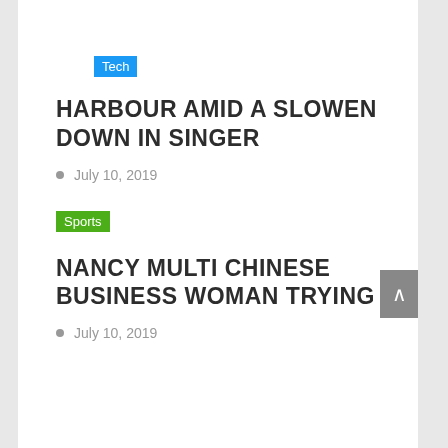Tech
HARBOUR AMID A SLOWEN DOWN IN SINGER
July 10, 2019
Sports
NANCY MULTI CHINESE BUSINESS WOMAN TRYING
July 10, 2019